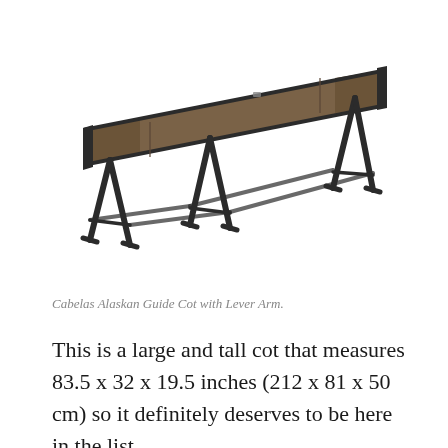[Figure (photo): A Cabelas Alaskan Guide Cot with Lever Arm. A large camping cot with dark metal frame/legs and brown fabric sleeping surface, viewed from an angle.]
Cabelas Alaskan Guide Cot with Lever Arm.
This is a large and tall cot that measures 83.5 x 32 x 19.5 inches (212 x 81 x 50 cm) so it definitely deserves to be here in the list.